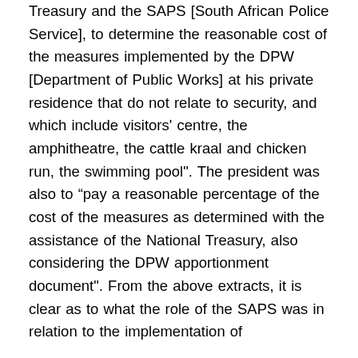Treasury and the SAPS [South African Police Service], to determine the reasonable cost of the measures implemented by the DPW [Department of Public Works] at his private residence that do not relate to security, and which include visitors' centre, the amphitheatre, the cattle kraal and chicken run, the swimming pool". The president was also to “pay a reasonable percentage of the cost of the measures as determined with the assistance of the National Treasury, also considering the DPW apportionment document". From the above extracts, it is clear as to what the role of the SAPS was in relation to the implementation of